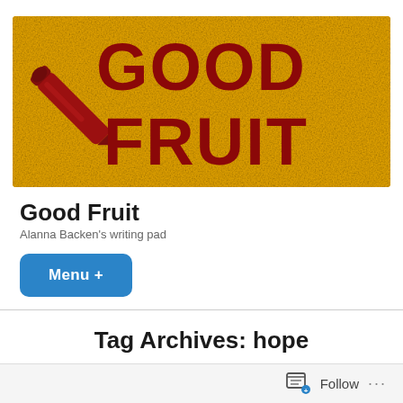[Figure (logo): Good Fruit blog banner — yellow textured background with a red marker/pen icon on the left and bold dark red text reading GOOD FRUIT on the right]
Good Fruit
Alanna Backen's writing pad
Menu +
Tag Archives: hope
Follow ...